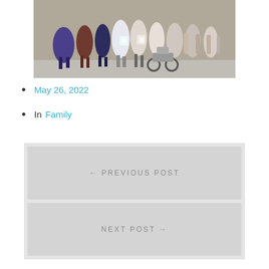[Figure (photo): A crowd of runners at the start of a road race, including a wheelchair racer in the foreground. Participants wear race bibs and colorful athletic gear.]
May 26, 2022
In Family
← PREVIOUS POST
NEXT POST →